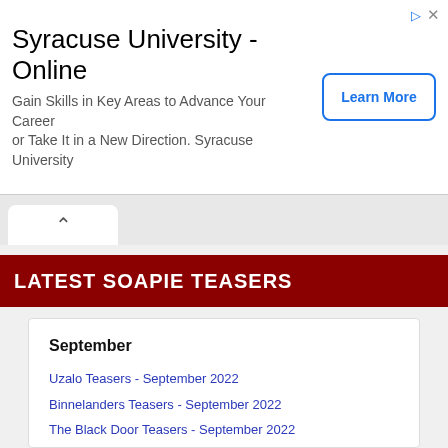[Figure (other): Advertisement banner for Syracuse University - Online with Learn More button]
LATEST SOAPIE TEASERS
September
Uzalo Teasers - September 2022
Binnelanders Teasers - September 2022
The Black Door Teasers - September 2022
Kind van die Noodlot Teasers - September 2022
In die Ysterhand se Greep Teasers - September 2022
House of Zwide 2 Teasers - September 2022
Legacy 2 on M-Net Teasers - September 2022
Skeem Saam Teasers - September 2022
Durban Gen Teasers - September 2022
Scandal! Teasers - September 2022